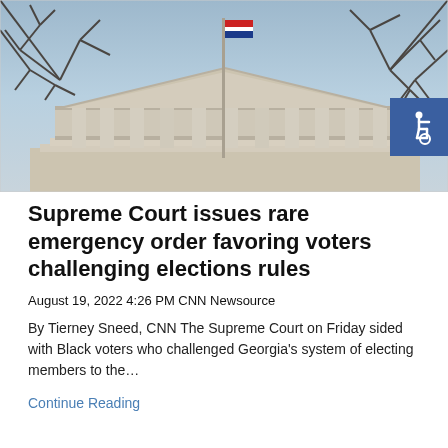[Figure (photo): Photo of the United States Supreme Court building exterior with columns, pediment, flagpole with American flag, and bare tree branches in the foreground against a blue sky. An accessibility icon (wheelchair symbol) appears in the top-right corner on a blue background.]
Supreme Court issues rare emergency order favoring voters challenging elections rules
August 19, 2022 4:26 PM CNN Newsource
By Tierney Sneed, CNN The Supreme Court on Friday sided with Black voters who challenged Georgia’s system of electing members to the…
Continue Reading